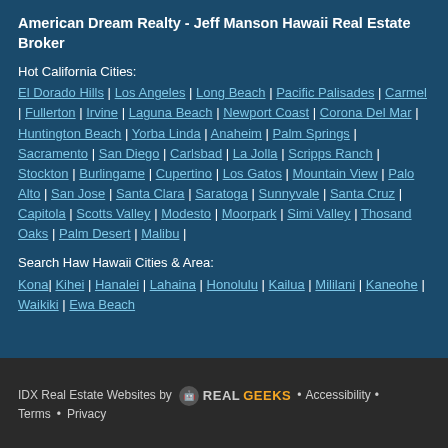American Dream Realty - Jeff Manson Hawaii Real Estate Broker
Hot California Cities:
El Dorado Hills | Los Angeles | Long Beach | Pacific Palisades | Carmel | Fullerton | Irvine | Laguna Beach | Newport Coast | Corona Del Mar | Huntington Beach | Yorba Linda | Anaheim | Palm Springs | Sacramento | San Diego | Carlsbad | La Jolla | Scripps Ranch | Stockton | Burlingame | Cupertino | Los Gatos | Mountain View | Palo Alto | San Jose | Santa Clara | Saratoga | Sunnyvale | Santa Cruz | Capitola | Scotts Valley | Modesto | Moorpark | Simi Valley | Thosand Oaks | Palm Desert | Malibu |
Search Haw Hawaii Cities & Area:
Kona| Kihei | Hanalei | Lahaina | Honolulu | Kailua | Mililani | Kaneohe | Waikiki | Ewa Beach
IDX Real Estate Websites by RealGeeks • Accessibility • Terms • Privacy